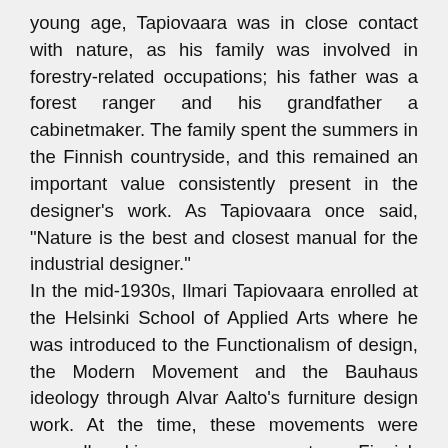young age, Tapiovaara was in close contact with nature, as his family was involved in forestry-related occupations; his father was a forest ranger and his grandfather a cabinetmaker. The family spent the summers in the Finnish countryside, and this remained an important value consistently present in the designer's work. As Tapiovaara once said, "Nature is the best and closest manual for the industrial designer." In the mid-1930s, Ilmari Tapiovaara enrolled at the Helsinki School of Applied Arts where he was introduced to the Functionalism of design, the Modern Movement and the Bauhaus ideology through Alvar Aalto's furniture design work. At the time, these movements were groundbreaking, as most Finnish manufacturers were rooted in traditional models. Ilmari went on to complete an internship at Le Corbusier's studio, rounding out his training and giving him a grasp of how